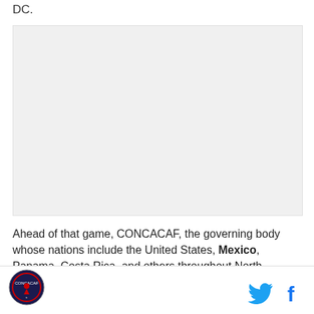DC.
[Figure (other): Large image placeholder (light gray box), likely a photo or embedded media]
Ahead of that game, CONCACAF, the governing body whose nations include the United States, Mexico, Panama, Costa Rica, and others throughout North
CONCACAF logo icon | Twitter icon | Facebook icon